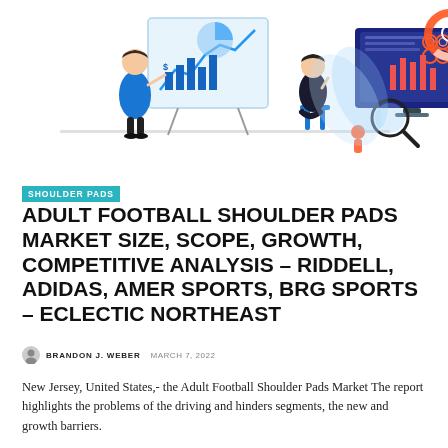[Figure (illustration): Two business illustration scenes: left shows a woman presenting charts on a whiteboard to a seated person; right shows a computer monitor displaying data charts with a magnifying glass and analyst figures around it.]
SHOULDER PADS
ADULT FOOTBALL SHOULDER PADS MARKET SIZE, SCOPE, GROWTH, COMPETITIVE ANALYSIS – RIDDELL, ADIDAS, AMER SPORTS, BRG SPORTS – ECLECTIC NORTHEAST
BRANDON J. WEBER  MARCH 7, 2022
New Jersey, United States,- the Adult Football Shoulder Pads Market The report highlights the problems of the driving and hinders segments, the new and growth barriers.